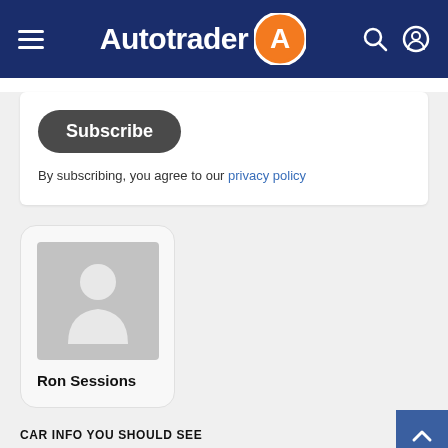Autotrader
Subscribe
By subscribing, you agree to our privacy policy
[Figure (illustration): Gray placeholder avatar image showing a silhouette of a person on a gray background]
Ron Sessions
CAR INFO YOU SHOULD SEE
SUV Deals